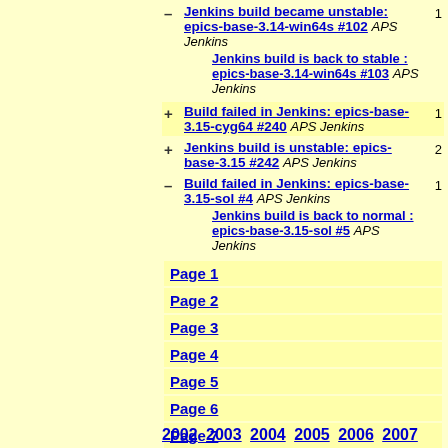– Jenkins build became unstable: epics-base-3.14-win64s #102 APS Jenkins  Jenkins build is back to stable : epics-base-3.14-win64s #103 APS Jenkins  [1]
+ Build failed in Jenkins: epics-base-3.15-cyg64 #240 APS Jenkins [1]
+ Jenkins build is unstable: epics-base-3.15 #242 APS Jenkins [2]
– Build failed in Jenkins: epics-base-3.15-sol #4 APS Jenkins  Jenkins build is back to normal : epics-base-3.15-sol #5 APS Jenkins [1]
Page 1
Page 2
Page 3
Page 4
Page 5
Page 6
Page 7
2002 2003 2004 2005 2006 2007